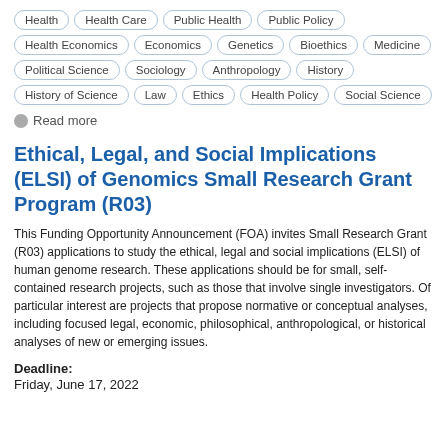Health
Health Care
Public Health
Public Policy
Health Economics
Economics
Genetics
Bioethics
Medicine
Political Science
Sociology
Anthropology
History
History of Science
Law
Ethics
Health Policy
Social Science
Read more
Ethical, Legal, and Social Implications (ELSI) of Genomics Small Research Grant Program (R03)
This Funding Opportunity Announcement (FOA) invites Small Research Grant (R03) applications to study the ethical, legal and social implications (ELSI) of human genome research. These applications should be for small, self-contained research projects, such as those that involve single investigators. Of particular interest are projects that propose normative or conceptual analyses, including focused legal, economic, philosophical, anthropological, or historical analyses of new or emerging issues.
Deadline:
Friday, June 17, 2022